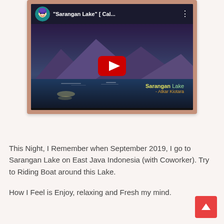[Figure (screenshot): YouTube video thumbnail showing 'Sarangan Lake' [Cal...] with a mountain and lake scene, a channel avatar in top left, three-dot menu in top right, and a red YouTube play button in the center.]
This Night, I Remember when September 2019, I go to Sarangan Lake on East Java Indonesia (with Coworker). Try to Riding Boat around this Lake.
How I Feel is Enjoy, relaxing and Fresh my mind.